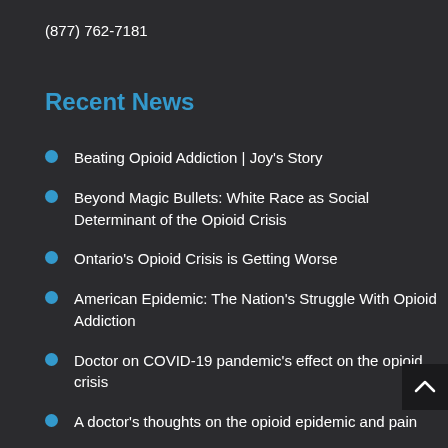(877) 762-7181
Recent News
Beating Opioid Addiction | Joy's Story
Beyond Magic Bullets: White Race as Social Determinant of the Opioid Crisis
Ontario's Opioid Crisis is Getting Worse
American Epidemic: The Nation's Struggle With Opioid Addiction
Doctor on COVID-19 pandemic's effect on the opioid crisis
A doctor's thoughts on the opioid epidemic and pain